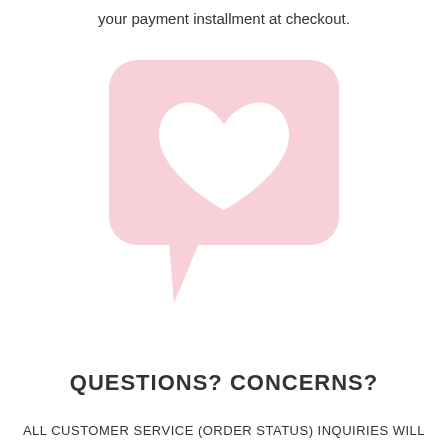your payment installment at checkout.
[Figure (illustration): Pink speech bubble icon with a white heart shape in the center]
QUESTIONS? CONCERNS?
ALL CUSTOMER SERVICE (ORDER STATUS) INQUIRIES WILL